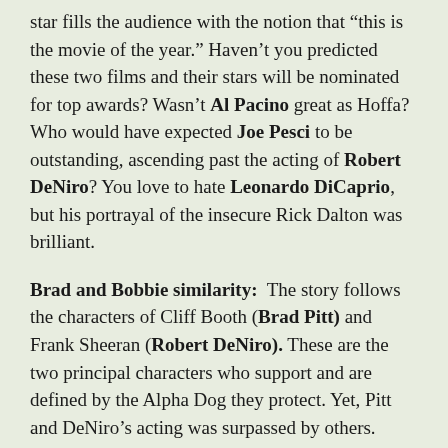star fills the audience with the notion that “this is the movie of the year.” Haven’t you predicted these two films and their stars will be nominated for top awards? Wasn’t Al Pacino great as Hoffa? Who would have expected Joe Pesci to be outstanding, ascending past the acting of Robert DeNiro? You love to hate Leonardo DiCaprio, but his portrayal of the insecure Rick Dalton was brilliant.
Brad and Bobbie similarity: The story follows the characters of Cliff Booth (Brad Pitt) and Frank Sheeran (Robert DeNiro). These are the two principal characters who support and are defined by the Alpha Dog they protect. Yet, Pitt and DeNiro’s acting was surpassed by others.
Both films are obsessed with paying attention